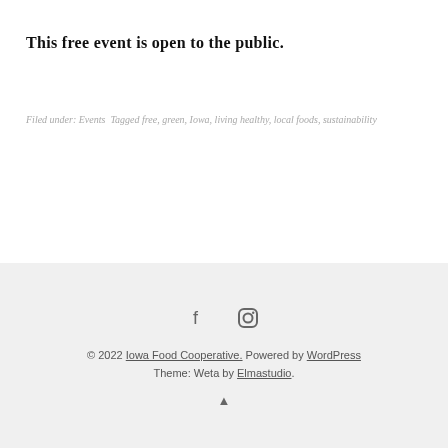This free event is open to the public.
Filed under: Events Tagged free, green, Iowa, living healthy, local foods, sustainability
© 2022 Iowa Food Cooperative. Powered by WordPress. Theme: Weta by Elmastudio.